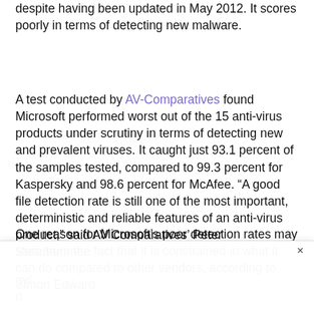despite having been updated in May 2012. It scores poorly in terms of detecting new malware.
A test conducted by AV-Comparatives found Microsoft performed worst out of the 15 anti-virus products under scrutiny in terms of detecting new and prevalent viruses. It caught just 93.1 percent of the samples tested, compared to 99.3 percent for Kaspersky and 98.6 percent for McAfee. “A good file detection rate is still one of the most important, deterministic and reliable features of an anti-virus product,” said AV Comparatives’ Peter Stelzhammer.
One reason for Microsoft’s poor detection rates may stem from the fact that it is constrained in what it can do compared to other vendors, according to Simon Edwards… Technology Labs. “W…d